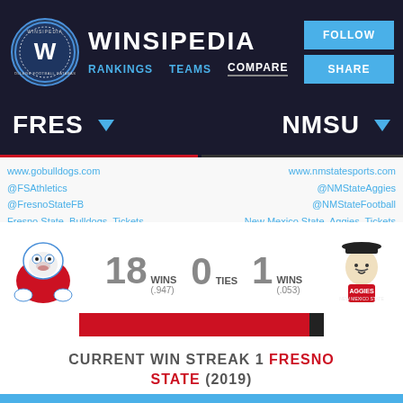[Figure (logo): Winsipedia logo with W in circle and navigation: Rankings, Teams, Compare with Follow and Share buttons]
FRES
NMSU
www.gobulldogs.com
@FSAthletics
@FresnoStateFB
Fresno State Bulldogs Tickets
www.nmstatesports.com
@NMStateAggies
@NMStateFootball
New Mexico State Aggies Tickets
[Figure (infographic): Head-to-head record: 18 WINS (.947) for Fresno State, 0 TIES, 1 WIN (.053) for NMSU, with proportion bar mostly red]
CURRENT WIN STREAK 1 FRESNO STATE (2019)